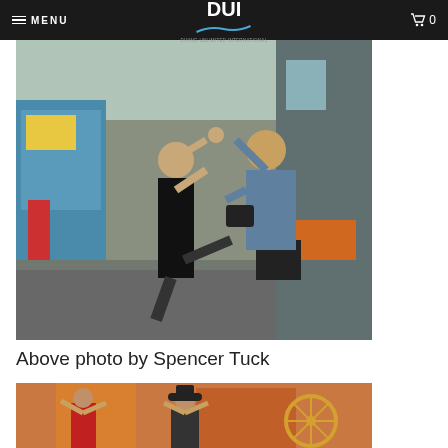MENU | DUI | 0
[Figure (photo): Outdoor street scene showing a woman in a black dress being dipped/lifted by a man in a blue shirt with a camera, likely dancing tango on a colorful street]
Above photo by Spencer Tuck
[Figure (photo): Colorful street scene with performers or costumed figures]